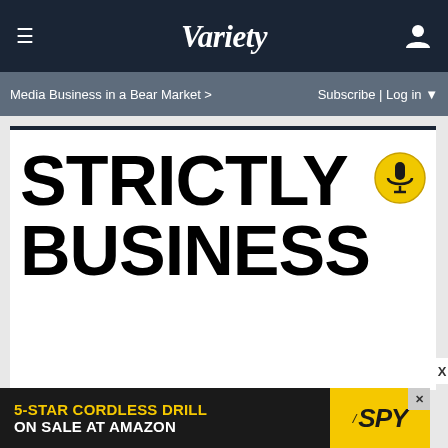VARIETY
Media Business in a Bear Market >
Subscribe | Log in
STRICTLY BUSINESS
[Figure (logo): Microphone icon in yellow circle]
[Figure (screenshot): Advertisement: 5-STAR CORDLESS DRILL ON SALE AT AMAZON / SPY]